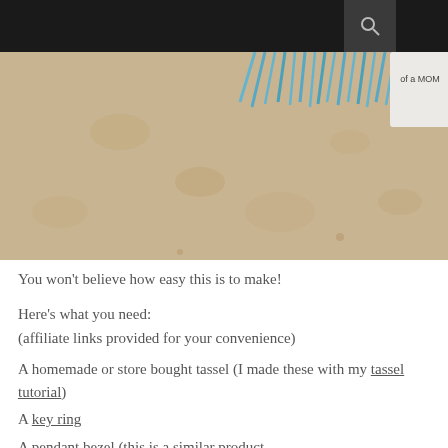[Figure (photo): Photo of blue tassels and a small white box labeled 'of a MOM' on a beige/tan surface, cropped showing bottom portion of craft supplies]
You won't believe how easy this is to make!
Here's what you need:
(affiliate links provided for your convenience)
A homemade or store bought tassel (I made these with my tassel tutorial)
A key ring
A pendant bezel (this is a similar product